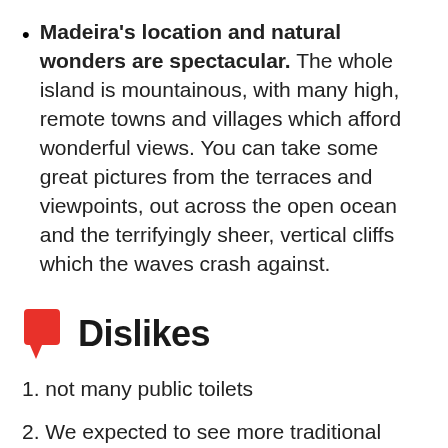Madeira's location and natural wonders are spectacular. The whole island is mountainous, with many high, remote towns and villages which afford wonderful views. You can take some great pictures from the terraces and viewpoints, out across the open ocean and the terrifyingly sheer, vertical cliffs which the waves crash against.
Dislikes
1. not many public toilets
2. We expected to see more traditional thatched roof houses.